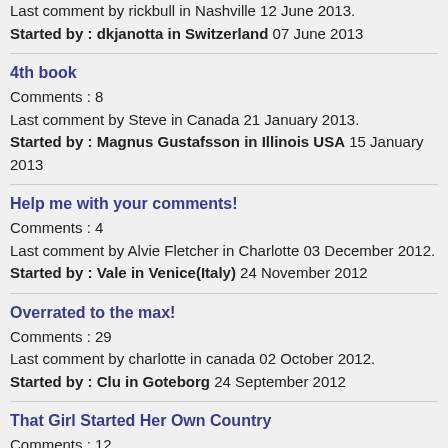Last comment by rickbull in Nashville 12 June 2013.
Started by : dkjanotta in Switzerland 07 June 2013
4th book
Comments : 8
Last comment by Steve in Canada 21 January 2013.
Started by : Magnus Gustafsson in Illinois USA 15 January 2013
Help me with your comments!
Comments : 4
Last comment by Alvie Fletcher in Charlotte 03 December 2012.
Started by : Vale in Venice(Italy) 24 November 2012
Overrated to the max!
Comments : 29
Last comment by charlotte in canada 02 October 2012.
Started by : Clu in Goteborg 24 September 2012
That Girl Started Her Own Country
Comments : 12
Last comment by plappen in Connecticut 12 September 2012.
Started by : Brian Matthews in Las Vegas 07 September 2012